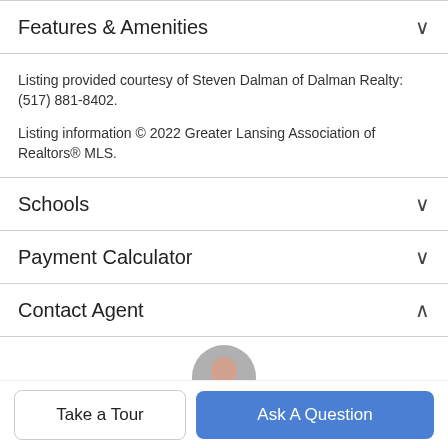Features & Amenities
Listing provided courtesy of Steven Dalman of Dalman Realty: (517) 881-8402.

Listing information © 2022 Greater Lansing Association of Realtors® MLS.
Schools
Payment Calculator
Contact Agent
[Figure (photo): Partial view of agent profile photo (circular crop, partially visible at bottom)]
Take a Tour
Ask A Question